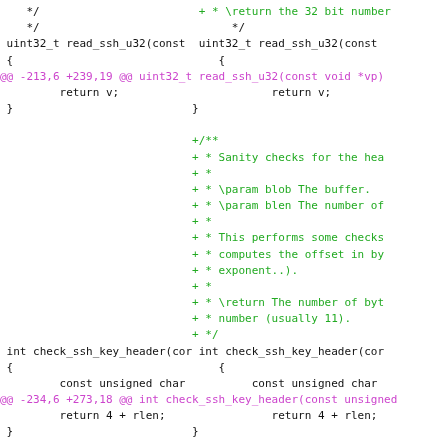[Figure (screenshot): A split diff view of C source code showing two columns side by side. Left column shows original code, right column shows new code with additions highlighted in green. Diff hunk headers are shown in magenta. The code involves SSH utility functions: read_ssh_u32 and check_ssh_key_header, with new Doxygen comment blocks added in the right column.]